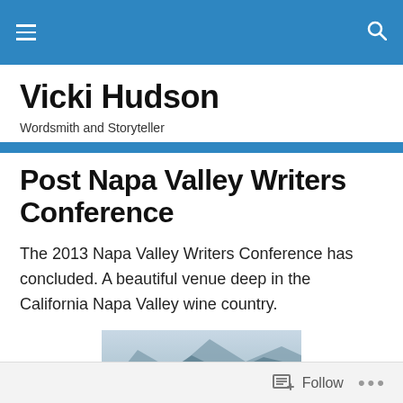Navigation bar with hamburger menu and search icon
Vicki Hudson
Wordsmith and Storyteller
Post Napa Valley Writers Conference
The 2013 Napa Valley Writers Conference has concluded. A beautiful venue deep in the California Napa Valley wine country.
[Figure (photo): Partial photo showing mountains in the background with hazy sky, Napa Valley landscape]
Follow  •••